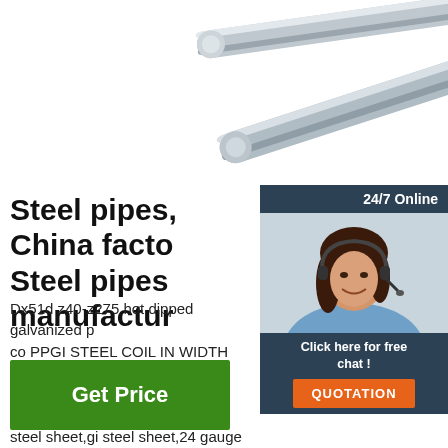[Figure (photo): Steel rods/pipes in silver metallic finish, partially cropped at top of page]
Steel pipes, China factory Steel pipes manufacturer
Dx51d z40-z275 hot dipped galvanized p... co PPGI STEEL COIL IN WIDTH 1000 1... High end FIPTE steel coil factory ppgi ga... steel sheet,gi steel sheet,24 gauge ga R... White Prepainted Galvanized Steel Coil ... HSLAS Grade 50 2.0*1000mm Grade 50... galvanize Factory iron and steel Galvanized steel price galv for metal ...
[Figure (photo): Customer service agent (woman with headset) for 24/7 online chat widget with QUOTATION button]
[Figure (other): TOP navigation icon with orange dots and orange text]
Get Price